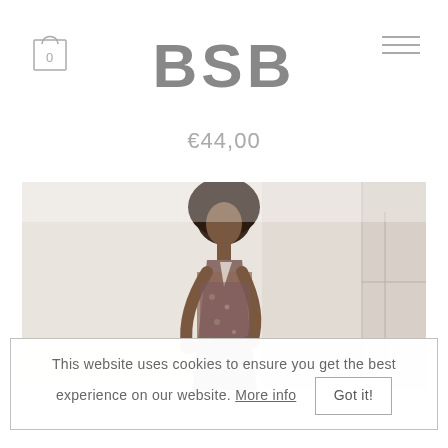BSB
€44,00
[Figure (photo): Fashion model wearing a floral long-sleeve dress, standing in a bright white room with a window visible on the right side.]
This website uses cookies to ensure you get the best experience on our website. More info  Got it!